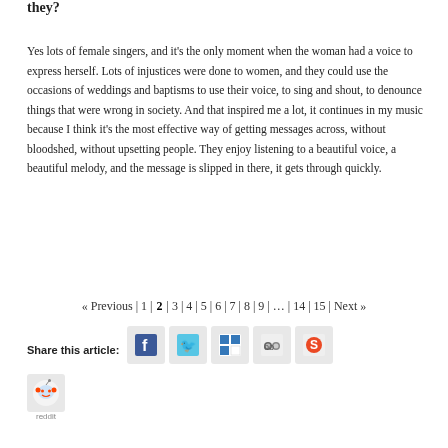they?
Yes lots of female singers, and it's the only moment when the woman had a voice to express herself. Lots of injustices were done to women, and they could use the occasions of weddings and baptisms to use their voice, to sing and shout, to denounce things that were wrong in society. And that inspired me a lot, it continues in my music because I think it's the most effective way of getting messages across, without bloodshed, without upsetting people. They enjoy listening to a beautiful voice, a beautiful melody, and the message is slipped in there, it gets through quickly.
« Previous | 1 | 2 | 3 | 4 | 5 | 6 | 7 | 8 | 9 | … | 14 | 15 | Next »
Share this article:
[Figure (other): Social share icons: Facebook, Twitter, Delicious, MySpace, StumbleUpon, Reddit]
reddit